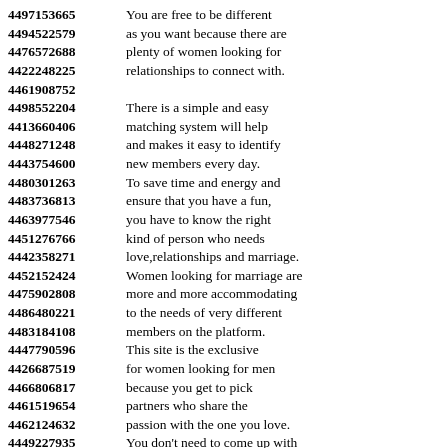4497153665  You are free to be different
4494522579  as you want because there are
4476572688  plenty of women looking for
4422248225  relationships to connect with.
4461908752
4498552204  There is a simple and easy
4413660406  matching system will help
4448271248  and makes it easy to identify
4443754600  new members every day.
4480301263  To save time and energy and
4483736813  ensure that you have a fun,
4463977546  you have to know the right
4451276766  kind of person who needs
4442358271  love,relationships and marriage.
4452152424  Women looking for marriage are
4475902808  more and more accommodating
4486480221  to the needs of very different
4483184108  members on the platform.
4447790596  This site is the exclusive
4426687519  for women looking for men
4466806817  because you get to pick
4461519654  partners who share the
4462124632  passion with the one you love.
4449227935  You don't need to come up with
4483205211  important words for you to